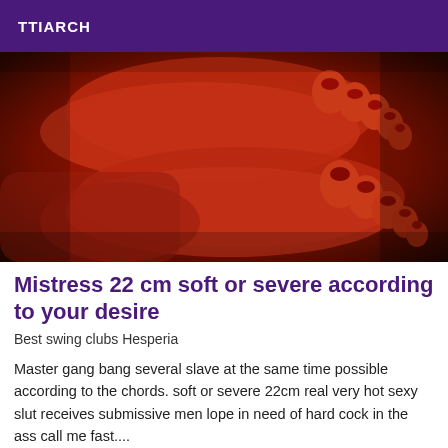TTIARCH
[Figure (photo): Close-up photo of feet under red/pink ambient lighting, with painted toenails visible]
Mistress 22 cm soft or severe according to your desire
Best swing clubs Hesperia
Master gang bang several slave at the same time possible according to the chords. soft or severe 22cm real very hot sexy slut receives submissive men lope in need of hard cock in the ass call me fast....